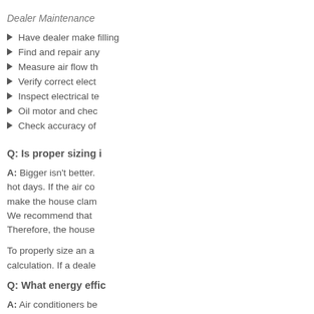Dealer Maintenance
Have dealer make filling
Find and repair any
Measure air flow th
Verify correct elect
Inspect electrical te
Oil motor and chec
Check accuracy of
Q: Is proper sizing i
A: Bigger isn't better. hot days. If the air co make the house clam We recommend that Therefore, the house
To properly size an a calculation. If a deale
Q: What energy effic
A: Air conditioners be